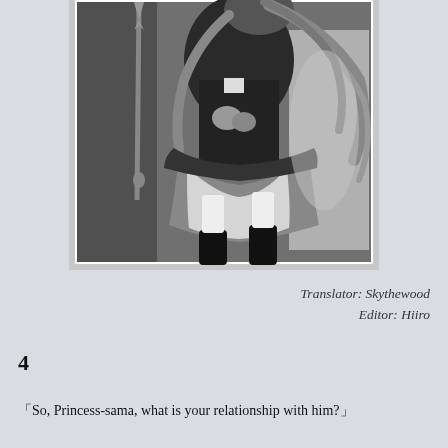[Figure (illustration): Black and white anime-style illustration of a girl in a school uniform with a long flowing skirt, knee-high socks, and long hair, holding what appears to be a staff or weapon, depicted in a dynamic pose against an interior background.]
Translator: Skythewood
Editor: Hiiro
4
「So, Princess-sama, what is your relationship with him?」